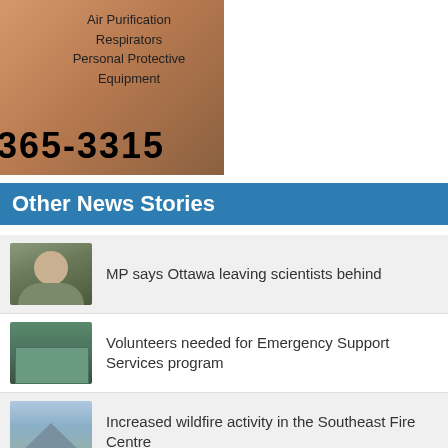[Figure (photo): Advertisement banner with wildfire background image showing fire and smoke. Left column lists: Pumps, Hoses, Sprinkler Rigs, Hand Tools. Right column lists: Air Purification, Respirators, Personal Protective Equipment. Large phone number (250)365-3315 at the bottom.]
Other News Stories
[Figure (photo): Thumbnail photo of an older man with white beard and hair, smiling, outdoors.]
MP says Ottawa leaving scientists behind
[Figure (photo): Thumbnail photo of a building exterior.]
Volunteers needed for Emergency Support Services program
[Figure (photo): Thumbnail photo of mountains with blue sky and clouds.]
Increased wildfire activity in the Southeast Fire Centre
[Figure (photo): Thumbnail photo of a police car.]
Castlegar man killed by tree at Rossland golf course